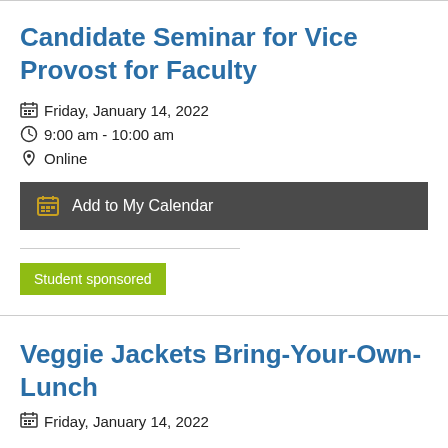Candidate Seminar for Vice Provost for Faculty
Friday, January 14, 2022
9:00 am - 10:00 am
Online
Add to My Calendar
Student sponsored
Veggie Jackets Bring-Your-Own-Lunch
Friday, January 14, 2022